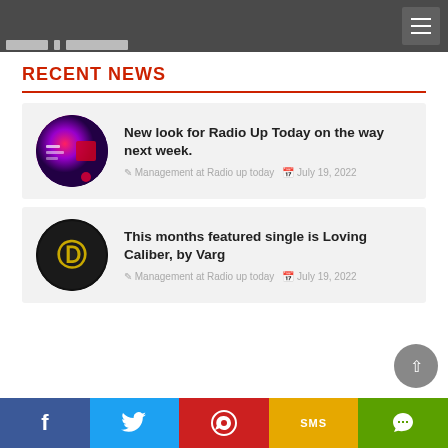RECENT NEWS
New look for Radio Up Today on the way next week.
Management at Radio up today  July 19, 2022
This months featured single is Loving Caliber, by Varg
Management at Radio up today  July 19, 2022
f  [twitter]  [pinterest]  SMS  [green]